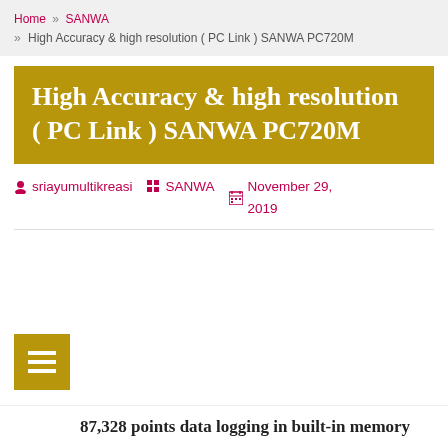Home » SANWA » High Accuracy & high resolution ( PC Link ) SANWA PC720M
High Accuracy & high resolution ( PC Link ) SANWA PC720M
sriayumultikreasi  SANWA  November 29, 2019
87,328 points data logging in built-in memory